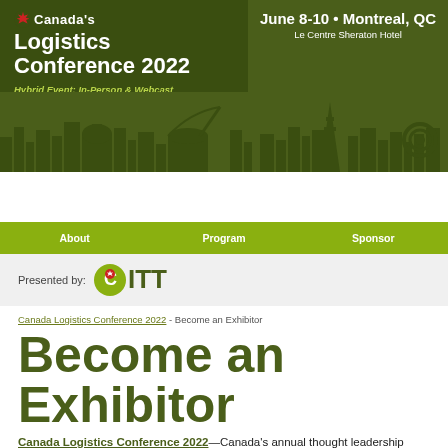[Figure (logo): Canada's Logistics Conference 2022 header banner with dark green background, maple leaf logo, event title, date June 8-10, Montreal QC, Le Centre Sheraton Hotel, Montreal skyline silhouette, Hybrid Event: In-Person & Webcast]
About   Program   Sponsor
[Figure (logo): Presented by: CITT logo with maple leaf]
Canada Logistics Conference 2022 - Become an Exhibitor
Become an Exhibitor
Canada Logistics Conference 2022—Canada's annual thought leadership conference for logistics professionals—will attract